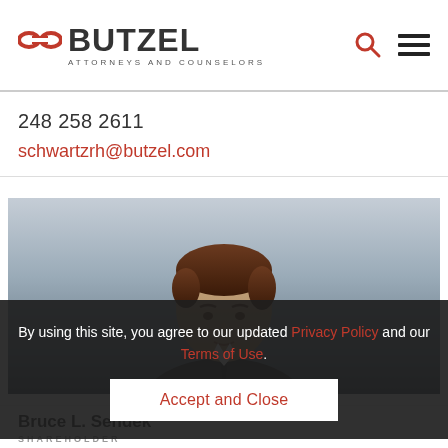[Figure (logo): Butzel Long logo with chain-link icon, text BUTZEL and ATTORNEYS AND COUNSELORS]
248 258 2611
schwartzrh@butzel.com
[Figure (photo): Professional headshot of a middle-aged man in a dark suit against a blurred grey background]
By using this site, you agree to our updated Privacy Policy and our Terms of Use.
Accept and Close
Bruce L. Sendek
SHAREHOLDER